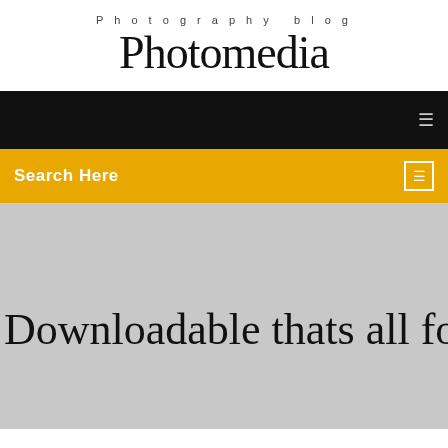Photography blog
Photomedia
Search Here
Downloadable thats all folks gif